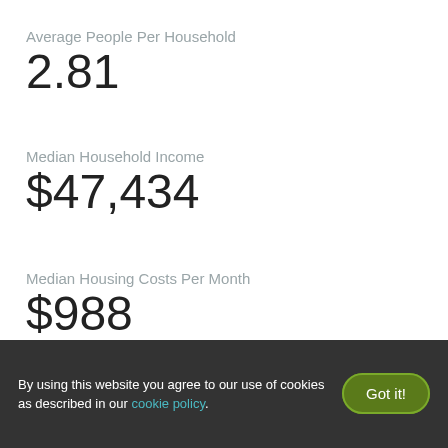Average People Per Household
2.81
Median Household Income
$47,434
Median Housing Costs Per Month
$988
There is a total of 7,440 households in North End St. Paul, St. Paul, MN. Of these, 2,534 have children and 4,905 are without children. Per
By using this website you agree to our use of cookies as described in our cookie policy.